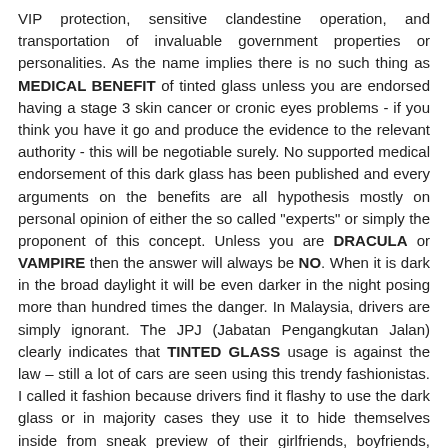VIP protection, sensitive clandestine operation, and transportation of invaluable government properties or personalities. As the name implies there is no such thing as MEDICAL BENEFIT of tinted glass unless you are endorsed having a stage 3 skin cancer or cronic eyes problems - if you think you have it go and produce the evidence to the relevant authority - this will be negotiable surely. No supported medical endorsement of this dark glass has been published and every arguments on the benefits are all hypothesis mostly on personal opinion of either the so called "experts" or simply the proponent of this concept. Unless you are DRACULA or VAMPIRE then the answer will always be NO. When it is dark in the broad daylight it will be even darker in the night posing more than hundred times the danger. In Malaysia, drivers are simply ignorant. The JPJ (Jabatan Pengangkutan Jalan) clearly indicates that TINTED GLASS usage is against the law – still a lot of cars are seen using this trendy fashionistas. I called it fashion because drivers find it flashy to use the dark glass or in majority cases they use it to hide themselves inside from sneak preview of their girlfriends, boyfriends, husband, or wife, or relatives, and in rare cases running from DEBT due to non performing hire purchase payment and AH LONG. Please do not cite an example from Malaysia or Thailand to augment your proposal for TINTED GLASS. Their drivers are outlaw due to incompetent enforcement agencies or bribery (in most cases) – just as simple as that. I do not think drivers are willing to poke extreme payment for specially equipped dark glass from the factory which could inflate the on the road price of such vehicle. Or even willing to order and properly installed a five stars self adapting tinted film which is mostly used to prevent glass smearing during accidents or bullet